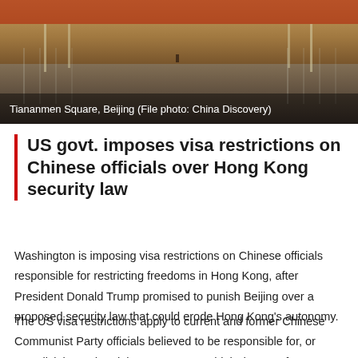[Figure (photo): Tiananmen Square, Beijing — wide angle view of the square with red walls and ceremonial lamp posts, taken from above ground level. People barely visible in distance.]
Tiananmen Square, Beijing (File photo: China Discovery)
US govt. imposes visa restrictions on Chinese officials over Hong Kong security law
Washington is imposing visa restrictions on Chinese officials responsible for restricting freedoms in Hong Kong, after President Donald Trump promised to punish Beijing over a proposed security law that could erode Hong Kong's autonomy.
The US visa restrictions apply to current and former Chinese Communist Party officials believed to be responsible for, or complicit in, undermining Hong Kong's high degree of autonomy, U.S. Secretary of State Mike Pompeo said on Friday, without naming any of those targeted.